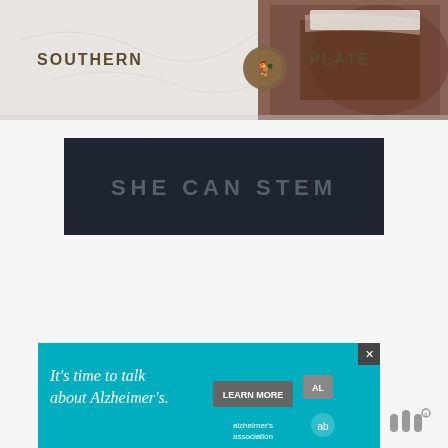[Figure (photo): Southern Plate website banner with logo and food photography showing a chocolate cake slice]
[Figure (infographic): SHE CAN STEM dark navy banner advertisement with large bold gray text]
[Figure (infographic): Alzheimer's Association advertisement banner in teal/cyan reading 'It's time to talk about Alzheimer's.' with LEARN MORE button and alzheimer's association logo]